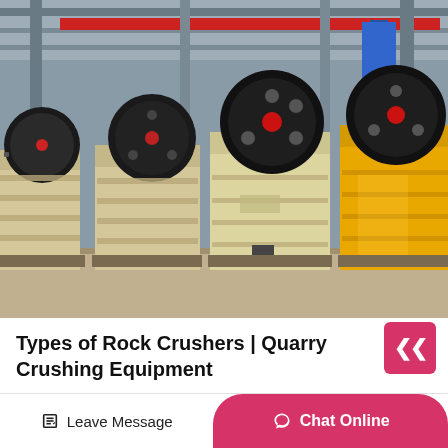[Figure (photo): Industrial factory floor showing multiple jaw crusher machines lined up. The machines have large black flywheels, cream/beige colored bodies, and one machine on the right is painted yellow. Red overhead cranes and steel structural beams are visible in the background.]
Types of Rock Crushers | Quarry Crushing Equipment
Typically, the minimum setting...